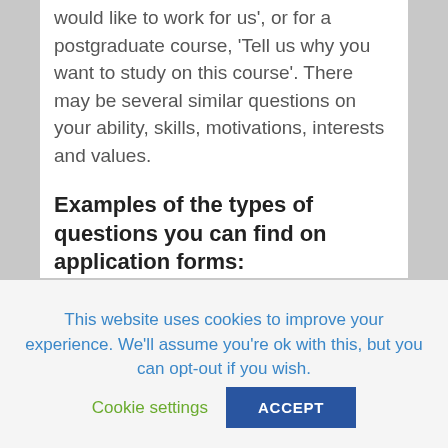would like to work for us', or for a postgraduate course, 'Tell us why you want to study on this course'. There may be several similar questions on your ability, skills, motivations, interests and values.
Examples of the types of questions you can find on application forms:
Testing that you have the right skills and abilities:
This website uses cookies to improve your experience. We'll assume you're ok with this, but you can opt-out if you wish.
Cookie settings
ACCEPT